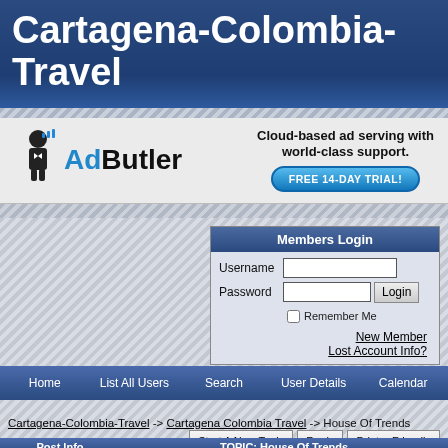Cartagena-Colombia-Travel
[Figure (screenshot): AdButler advertisement banner with logo and 'Cloud-based ad serving with world-class support. FREE 14-DAY TRIAL!' text]
Members Login form with Username, Password, Remember Me checkbox, Login button, New Member and Lost Account Info? links
Home | List All Users | Search | User Details | Calendar
Cartagena-Colombia-Travel -> Cartagena Colombia Travel -> House Of Trends
Start A New Topic | Reply | Printer Friendly
| Post Info | TOPIC: House Of Trends |
| --- | --- |